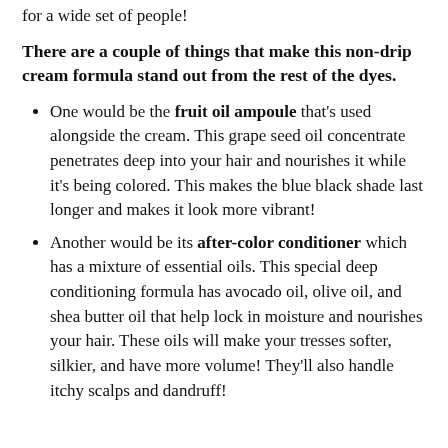for a wide set of people!
There are a couple of things that make this non-drip cream formula stand out from the rest of the dyes.
One would be the fruit oil ampoule that's used alongside the cream. This grape seed oil concentrate penetrates deep into your hair and nourishes it while it's being colored. This makes the blue black shade last longer and makes it look more vibrant!
Another would be its after-color conditioner which has a mixture of essential oils. This special deep conditioning formula has avocado oil, olive oil, and shea butter oil that help lock in moisture and nourishes your hair. These oils will make your tresses softer, silkier, and have more volume! They'll also handle itchy scalps and dandruff!
...